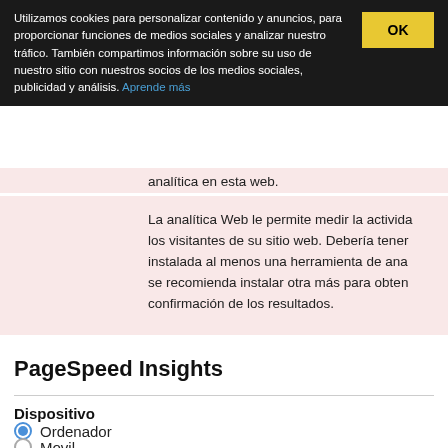Utilizamos cookies para personalizar contenido y anuncios, para proporcionar funciones de medios sociales y analizar nuestro tráfico. También compartimos información sobre su uso de nuestro sitio con nuestros socios de los medios sociales, publicidad y análisis. Aprende más
analítica en esta web.
La analítica Web le permite medir la actividad de los visitantes de su sitio web. Debería tener instalada al menos una herramienta de ana… se recomienda instalar otra más para obten… confirmación de los resultados.
PageSpeed Insights
Dispositivo
Ordenador
Movil
Categorias